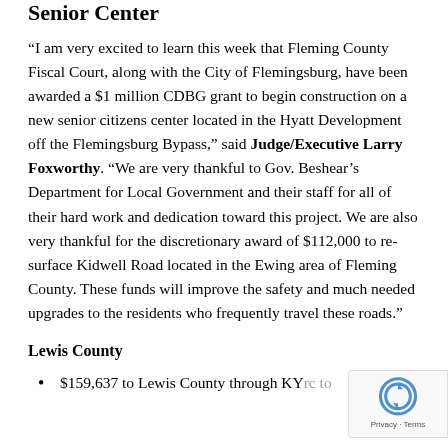Senior Center
“I am very excited to learn this week that Fleming County Fiscal Court, along with the City of Flemingsburg, have been awarded a $1 million CDBG grant to begin construction on a new senior citizens center located in the Hyatt Development off the Flemingsburg Bypass,” said Judge/Executive Larry Foxworthy. “We are very thankful to Gov. Beshear’s Department for Local Government and their staff for all of their hard work and dedication toward this project. We are also very thankful for the discretionary award of $112,000 to re-surface Kidwell Road located in the Ewing area of Fleming County. These funds will improve the safety and much needed upgrades to the residents who frequently travel these roads.”
Lewis County
$159,637 to Lewis County through KYrc to